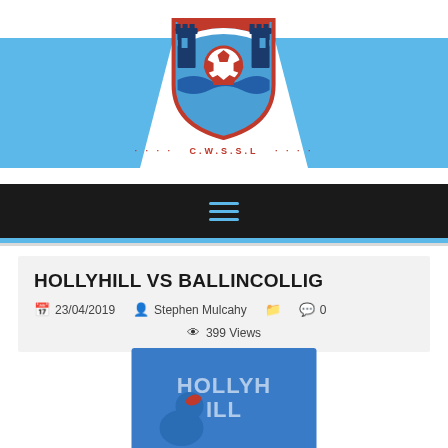[Figure (logo): CWSSL football league crest/shield logo with blue castle towers, red and white soccer ball, water, and text '.... C.W.S.S.L ....' below]
HOLLYHILL VS BALLINCOLLIG
23/04/2019  Stephen Mulcahy  0  399 Views